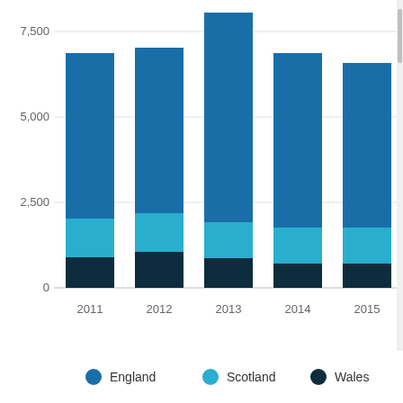[Figure (stacked-bar-chart): ]
England    Scotland    Wales